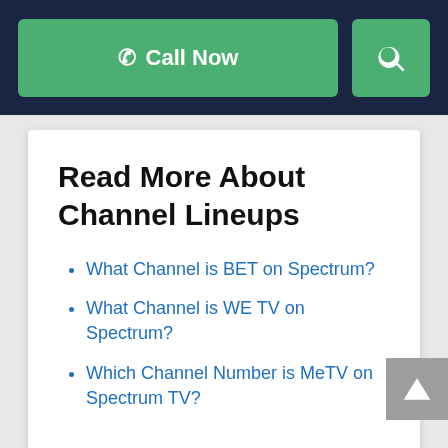Call Now | Search
Read More About Channel Lineups
What Channel is BET on Spectrum?
What Channel is WE TV on Spectrum?
Which Channel Number is MeTV on Spectrum TV?